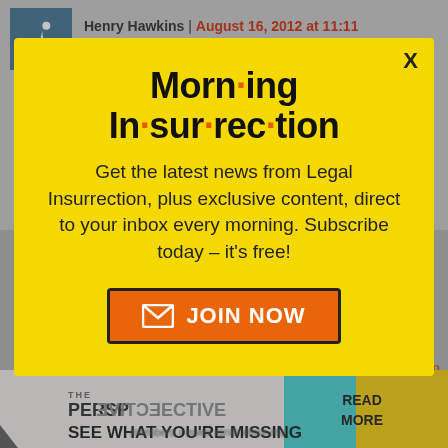Henry Hawkins | August 16, 2012 at 11:11 am
[Figure (screenshot): Modal popup overlay for Morning Insurrection newsletter signup with yellow background, title 'Morn·ing In·sur·rec·tion', description text, and JOIN NOW button. Behind modal: webpage content with author header and bottom advertisement banner reading 'THE PERSPECTIVE - SEE WHAT YOU'RE MISSING - READ MORE'.]
Get the latest news from Legal Insurrection, plus exclusive content, direct to your inbox every morning. Subscribe today – it's free!
JOIN NOW
corroborating evidence that Joe Biden has stated repeatedly that his father
SEE WHAT YOU'RE MISSING
READ MORE